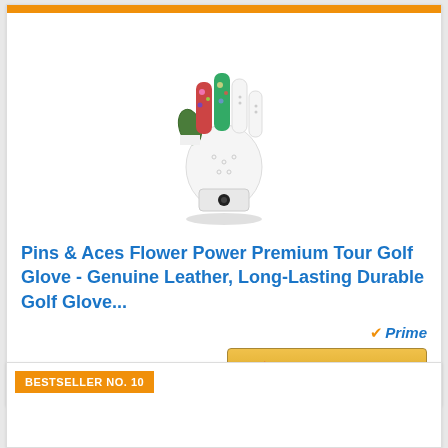[Figure (photo): White golf glove with floral patterned fingers, floating on white background]
Pins & Aces Flower Power Premium Tour Golf Glove - Genuine Leather, Long-Lasting Durable Golf Glove...
Prime
Check on Amazon
BESTSELLER NO. 10